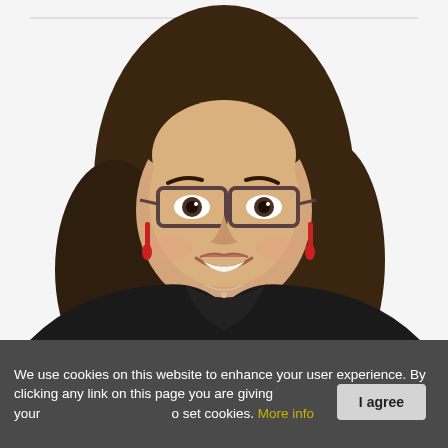[Figure (photo): Professional headshot of a young woman with long brown hair, wearing glasses with dark tortoiseshell frames and red dangling earrings, smiling, dressed in a black top, white background]
We use cookies on this website to enhance your user experience. By clicking any link on this page you are giving your consent for us to set cookies. More info